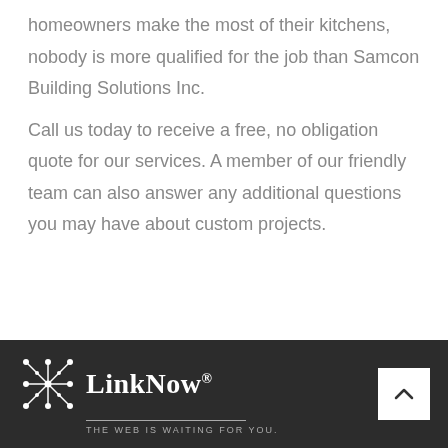homeowners make the most of their kitchens, nobody is more qualified for the job than Samcon Building Solutions Inc.
Call us today to receive a free, no obligation quote for our services. A member of our friendly team can also answer any additional questions you may have about custom projects.
LinkNow® THE WEB IS WAITING FOR YOU.